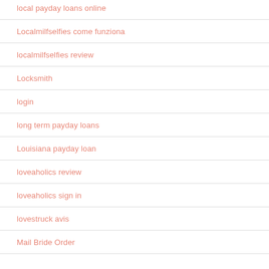local payday loans online
Localmilfselfies come funziona
localmilfselfies review
Locksmith
login
long term payday loans
Louisiana payday loan
loveaholics review
loveaholics sign in
lovestruck avis
Mail Bride Order